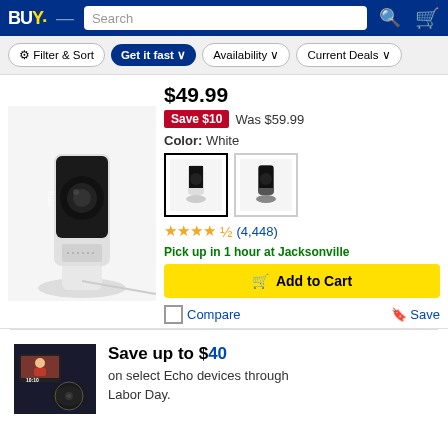BUY — Search
Filter & Sort | Get it fast | Availability | Current Deals
[Figure (photo): Ring Indoor Camera (2nd Gen) in white color, shown on a white background with a cable.]
Save $10 Was $59.99
Color: White
[Figure (photo): Two color swatches for the Ring camera: white (selected) and black.]
★★★★★ (4,448)
Pick up in 1 hour at Jacksonville
Add to Cart
Compare  Save
Save up to $40 on select Echo devices through Labor Day.
[Figure (photo): Amazon Echo devices promotional image showing Echo Show and Echo Dot at 10:10.]